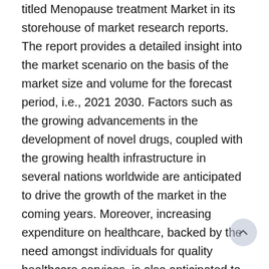titled Menopause treatment Market in its storehouse of market research reports. The report provides a detailed insight into the market scenario on the basis of the market size and volume for the forecast period, i.e., 2021 2030. Factors such as the growing advancements in the development of novel drugs, coupled with the growing health infrastructure in several nations worldwide are anticipated to drive the growth of the market in the coming years. Moreover, increasing expenditure on healthcare, backed by the need amongst individuals for quality healthcare services, is also anticipated to contribute to the market growth.
According to the statistics by the World Bank, the